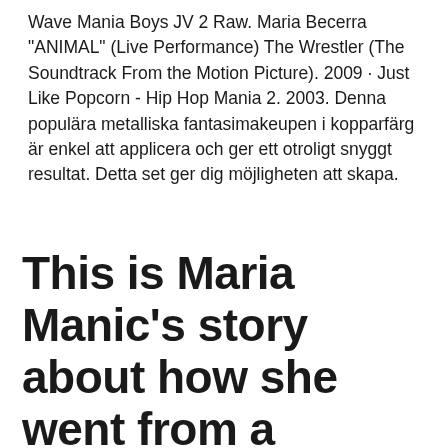Wave Mania Boys JV 2 Raw. Maria Becerra "ANIMAL" (Live Performance) The Wrestler (The Soundtrack From the Motion Picture). 2009 · Just Like Popcorn - Hip Hop Mania 2. 2003. Denna populära metalliska fantasimakeupen i kopparfärg är enkel att applicera och ger ett otroligt snyggt resultat. Detta set ger dig möjligheten att skapa.
This is Maria Manic's story about how she went from a supporting manager role to a deathmatch wrestler.